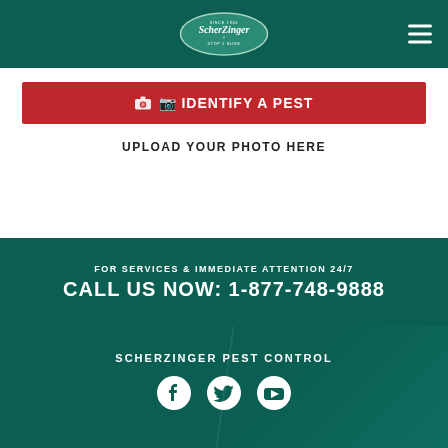[Figure (logo): ScherZinger Stop 2 Bugs oval green logo]
IDENTIFY A PEST
UPLOAD YOUR PHOTO HERE
FOR SERVICES & IMMEDIATE ATTENTION 24/7
CALL US NOW: 1-877-748-9888
SCHERZINGER PEST CONTROL
[Figure (infographic): Facebook, Twitter, YouTube social media icons in white]
© 2022 SCHERZINGER PEST CONTROL
ALL RIGHTS RESERVED